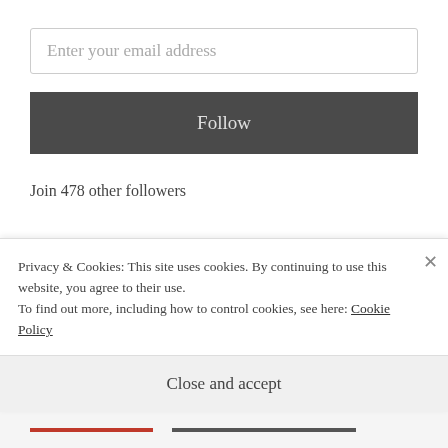Enter your email address
Follow
Join 478 other followers
Blog stats
530,051 hits
Privacy & Cookies: This site uses cookies. By continuing to use this website, you agree to their use.
To find out more, including how to control cookies, see here: Cookie Policy
Close and accept